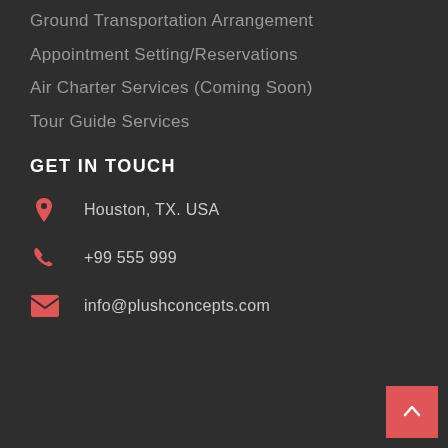Ground Transportation Arrangement
Appointment Setting/Reservations
Air Charter Services (Coming Soon)
Tour Guide Services
GET IN TOUCH
Houston, TX. USA
+99 555 999
info@plushconcepts.com